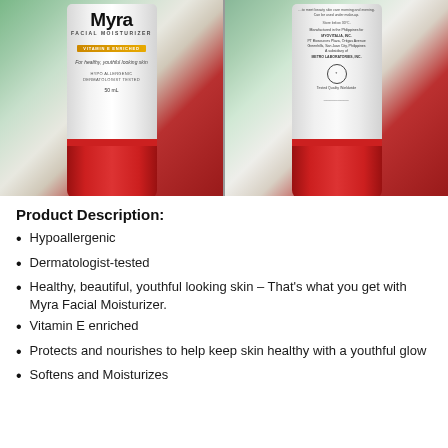[Figure (photo): Two photos of Myra Facial Moisturizer tubes side-by-side. Left image shows the front of the tube with the Myra branding, orange badge, and red cap. Right image shows the back of the tube with product information text and a quality mark seal, also with red cap.]
Product Description:
Hypoallergenic
Dermatologist-tested
Healthy, beautiful, youthful looking skin – That's what you get with Myra Facial Moisturizer.
Vitamin E enriched
Protects and nourishes to help keep skin healthy with a youthful glow
Softens and Moisturizes